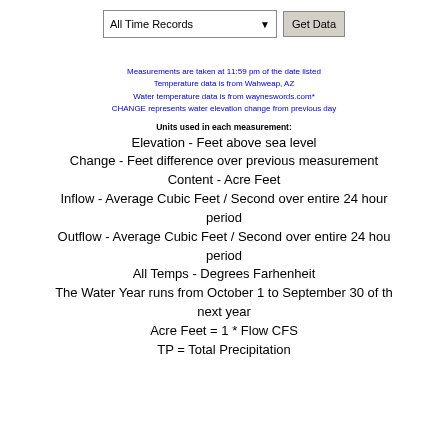All Time Records [dropdown] Get Data
Measurements are taken at 11:59 pm of the date listed
Temperature data is from Wahweap, AZ
Water temperature data is from wayneswords.com*
CHANGE represents water elevation change from previous day
Units used in each measurement:
Elevation - Feet above sea level
Change - Feet difference over previous measurement
Content - Acre Feet
Inflow - Average Cubic Feet / Second over entire 24 hour period
Outflow - Average Cubic Feet / Second over entire 24 hour period
All Temps - Degrees Farhenheit
The Water Year runs from October 1 to September 30 of the next year
Acre Feet = 1 * Flow CFS
TP = Total Precipitation